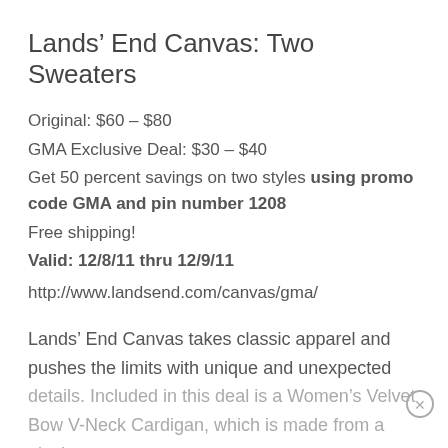Lands’ End Canvas: Two Sweaters
Original: $60 – $80
GMA Exclusive Deal: $30 – $40
Get 50 percent savings on two styles using promo code GMA and pin number 1208
Free shipping!
Valid: 12/8/11 thru 12/9/11
http://www.landsend.com/canvas/gma/
Lands’ End Canvas takes classic apparel and pushes the limits with unique and unexpected details. Included in this deal is a Women’s Velvet Bow V-Neck Cardigan, which is made from a plush